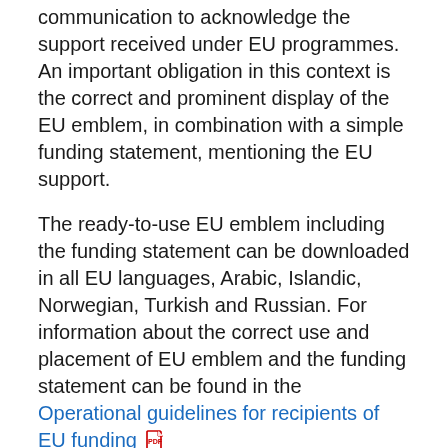communication to acknowledge the support received under EU programmes. An important obligation in this context is the correct and prominent display of the EU emblem, in combination with a simple funding statement, mentioning the EU support.
The ready-to-use EU emblem including the funding statement can be downloaded in all EU languages, Arabic, Islandic, Norwegian, Turkish and Russian. For information about the correct use and placement of EU emblem and the funding statement can be found in the Operational guidelines for recipients of EU funding [PDF icon]
Programming period 2021-2027
Funded by the European Union (horizontal and vertical)